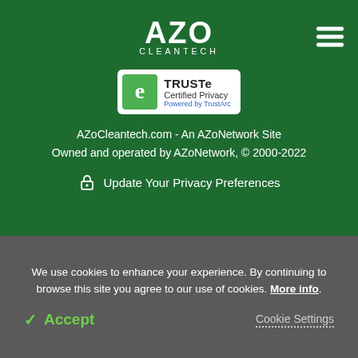[Figure (logo): AZO Cleantech logo in white text on green background]
[Figure (logo): TRUSTe Certified Privacy Powered by TrustArc badge]
AZoCleantech.com - An AZoNetwork Site
Owned and operated by AZoNetwork, © 2000-2022
Update Your Privacy Preferences
We use cookies to enhance your experience. By continuing to browse this site you agree to our use of cookies. More info.
Accept
Cookie Settings